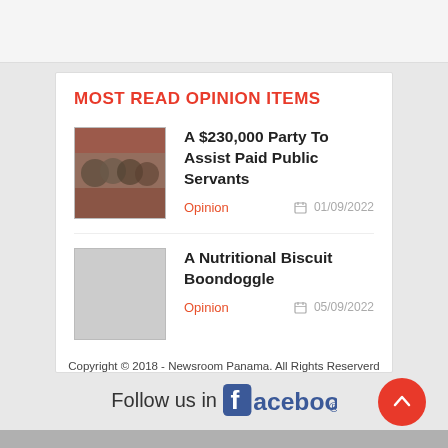MOST READ OPINION ITEMS
A $230,000 Party To Assist Paid Public Servants
Opinion   01/09/2022
A Nutritional Biscuit Boondoggle
Opinion   05/09/2022
Copyright © 2018 - Newsroom Panama. All Rights Reserverd
Follow us in facebook.